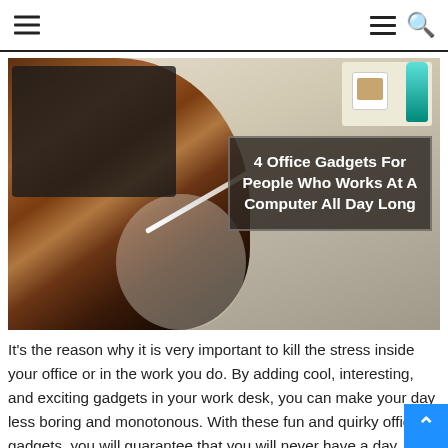Navigation header with hamburger menu icons and search icon
[Figure (photo): Woman with auburn hair sitting at a desk working, viewed from above. Coffee cup, teal bottle visible in top right. Overlay box reading '4 Office Gadgets For People Who Works At A Computer All Day Long']
It's the reason why it is very important to kill the stress inside your office or in the work you do. By adding cool, interesting, and exciting gadgets in your work desk, you can make your day less boring and monotonous. With these fun and quirky office gadgets, you will guarantee that you will never have a day where you hate going to work.